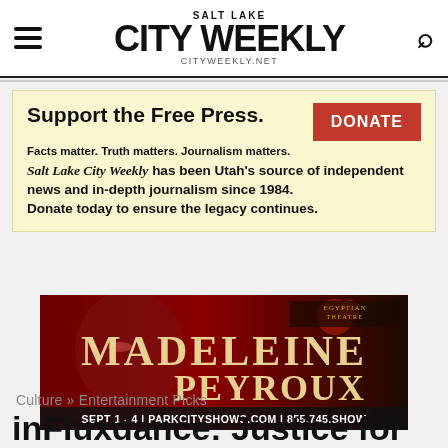SALT LAKE CITY WEEKLY | CITYWEEKLY.NET
[Figure (infographic): Support the Free Press donation banner with yellow background. Text: Support the Free Press. Facts matter. Truth matters. Journalism matters. Salt Lake City Weekly has been Utah's source of independent news and in-depth journalism since 1984. Donate today to ensure the legacy continues. Red DONATE button.]
[Figure (photo): Advertisement for Madeleine Peyroux at the Egyptian Theatre. Dark red background with a woman's face. Text: MADELEINE PEYROUX, SEPT 1 - 4, PARKCITYSHOWS.COM, 855.745.SHOW]
Culture » Entertainment Picks
inFluxdance: Justice for Some